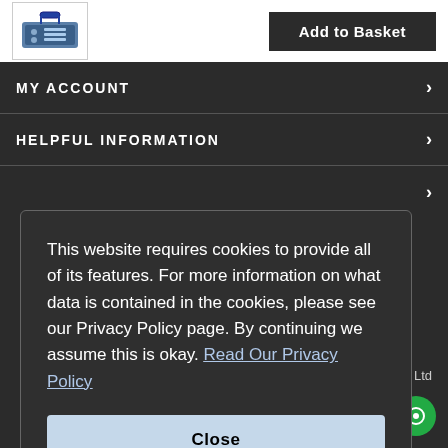[Figure (screenshot): Product image of a portable device (blue handle, blue/grey case) in a white bordered thumbnail]
Add to Basket
MY ACCOUNT
HELPFUL INFORMATION
This website requires cookies to provide all of its features. For more information on what data is contained in the cookies, please see our Privacy Policy page. By continuing we assume this is okay. Read Our Privacy Policy
Close
pe Ltd